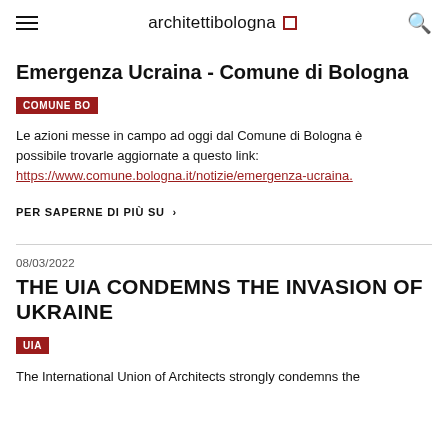architettibologna
Emergenza Ucraina - Comune di Bologna
COMUNE BO
Le azioni messe in campo ad oggi dal Comune di Bologna è possibile trovarle aggiornate a questo link: https://www.comune.bologna.it/notizie/emergenza-ucraina.
PER SAPERNE DI PIÙ SU >
08/03/2022
THE UIA CONDEMNS THE INVASION OF UKRAINE
UIA
The International Union of Architects strongly condemns the